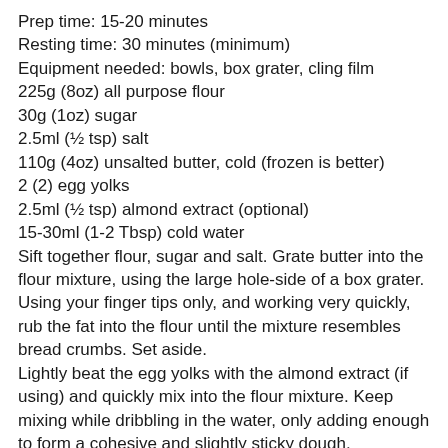Prep time: 15-20 minutes
Resting time: 30 minutes (minimum)
Equipment needed: bowls, box grater, cling film
225g (8oz) all purpose flour
30g (1oz) sugar
2.5ml (½ tsp) salt
110g (4oz) unsalted butter, cold (frozen is better)
2 (2) egg yolks
2.5ml (½ tsp) almond extract (optional)
15-30ml (1-2 Tbsp) cold water
Sift together flour, sugar and salt. Grate butter into the flour mixture, using the large hole-side of a box grater. Using your finger tips only, and working very quickly, rub the fat into the flour until the mixture resembles bread crumbs. Set aside.
Lightly beat the egg yolks with the almond extract (if using) and quickly mix into the flour mixture. Keep mixing while dribbling in the water, only adding enough to form a cohesive and slightly sticky dough.
Form the dough into a disc, wrap in cling and refrigerate for at least 30 minutes
Jasmine's notes:
• I make this using vanilla salt and vanilla sugar.